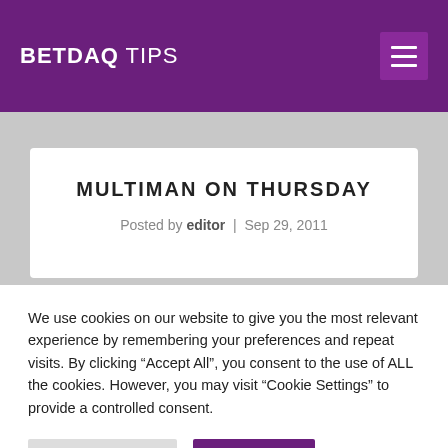BETDAQ TIPS
MULTIMAN ON THURSDAY
Posted by editor | Sep 29, 2011
We use cookies on our website to give you the most relevant experience by remembering your preferences and repeat visits. By clicking "Accept All", you consent to the use of ALL the cookies. However, you may visit "Cookie Settings" to provide a controlled consent.
Cookie Settings | Accept All